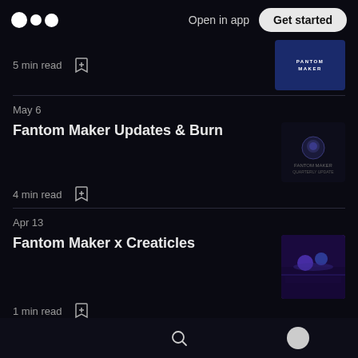Open in app | Get started
5 min read
May 6
Fantom Maker Updates & Burn
4 min read
Apr 13
Fantom Maker x Creaticles
1 min read